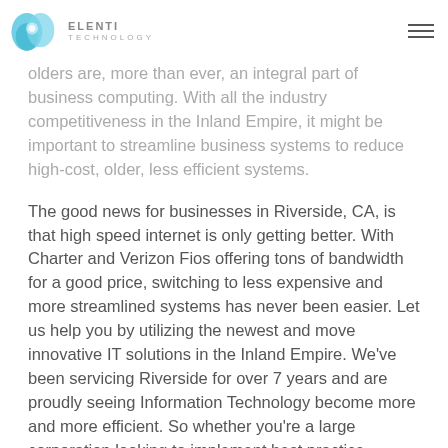ELENTI TECHNOLOGY
olders are, more than ever, an integral part of business computing. With all the industry competitiveness in the Inland Empire, it might be important to streamline business systems to reduce high-cost, older, less efficient systems.
The good news for businesses in Riverside, CA, is that high speed internet is only getting better. With Charter and Verizon Fios offering tons of bandwidth for a good price, switching to less expensive and more streamlined systems has never been easier. Let us help you by utilizing the newest and move innovative IT solutions in the Inland Empire. We've been servicing Riverside for over 7 years and are proudly seeing Information Technology become more and more efficient. So whether you're a large corporation looking to implement best practice Exchange Server technology, or you're a smaller office looking for low cost email solutions such as Google Business Apps or Microsoft Office 365, we can assist you in making the right decisions. When computer